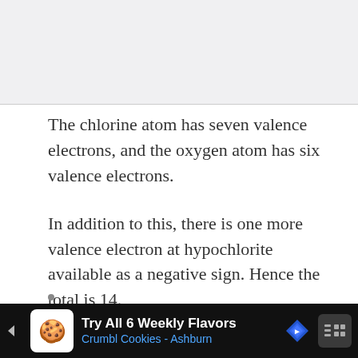[Figure (other): Light gray rectangular image placeholder area at the top of the page]
The chlorine atom has seven valence electrons, and the oxygen atom has six valence electrons.
In addition to this, there is one more valence electron at hypochlorite available as a negative sign. Hence the total is 14.
Step 2: Determine the number of valence electrons further required to complete the
[Figure (other): Advertisement banner at the bottom: 'Try All 6 Weekly Flavors, Crumbl Cookies - Ashburn' on a dark background with cookie icon and navigation arrows]